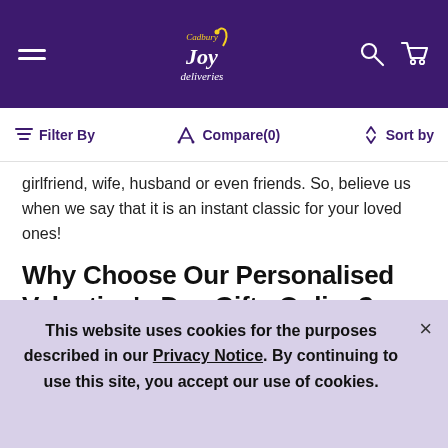Cadbury Joy Deliveries — navigation header with hamburger menu, logo, search and cart icons
Filter By   Compare(0)   Sort by
girlfriend, wife, husband or even friends. So, believe us when we say that it is an instant classic for your loved ones!
Why Choose Our Personalised Valentine's Day Gifts Online?
Roses are red. Violets are blue. Cadbury's Valentine's chocolates are here for you!
Our exclusive collection of is the optimal gift for your lover on this
This website uses cookies for the purposes described in our Privacy Notice. By continuing to use this site, you accept our use of cookies.